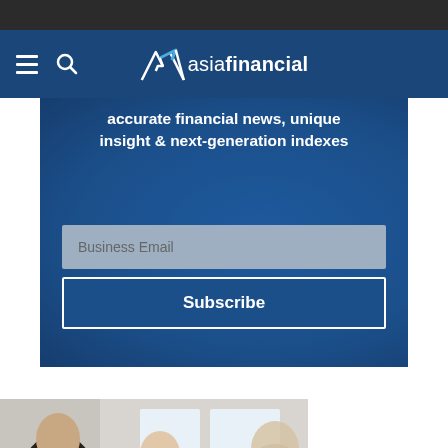[Figure (screenshot): Asia Financial website header with dark top bar, navy navigation bar with hamburger menu, search icon, and Asia Financial logo]
[Figure (screenshot): Subscribe banner with text 'accurate financial news, unique insight & next-generation indexes', a Business Email input field, and a Subscribe button]
accurate financial news, unique insight & next-generation indexes
[Figure (photo): Photo of a man in glasses and suit smiling, in a meeting with two other people partially visible]